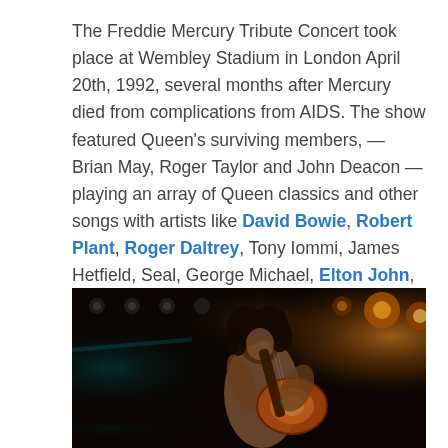The Freddie Mercury Tribute Concert took place at Wembley Stadium in London April 20th, 1992, several months after Mercury died from complications from AIDS. The show featured Queen's surviving members, — Brian May, Roger Taylor and John Deacon — playing an array of Queen classics and other songs with artists like David Bowie, Robert Plant, Roger Daltrey, Tony Iommi, James Hetfield, Seal, George Michael, Elton John, Axl Rose and Liza Minnelli. The show also featured individual performances from Metallica, U2, Def Leppard, Guns N' Roses and Spinal Tap.
[Figure (photo): Concert photo of a shirtless guitarist with long dark curly hair playing a Les Paul style guitar on a dark stage with colorful stage lighting (orange and teal/blue lights visible in background)]